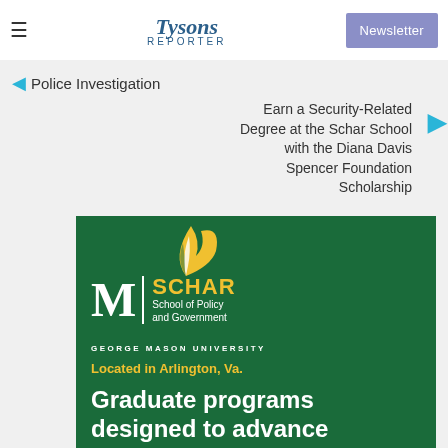Tysons Reporter — Newsletter
Police Investigation
Earn a Security-Related Degree at the Schar School with the Diana Davis Spencer Foundation Scholarship
[Figure (logo): Schar School of Policy and Government, George Mason University advertisement. Green background with white M logo with feather, gold SCHAR text, white School of Policy and Government, white GEORGE MASON UNIVERSITY, gold Located in Arlington, Va., white Graduate programs designed to advance]